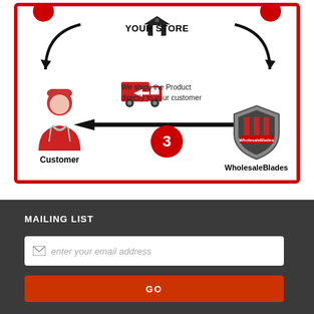[Figure (infographic): Dropshipping workflow infographic showing step 3: WholesaleBlades ships the product directly to the customer. Features a customer figure on the left, truck icon in center with text 'We ships the Product directly to your customer', arrow pointing left, step 3 circle badge, and WholesaleBlades shield logo on the right. 'YOUR STORE' label at top.]
MAILING LIST
enter your email address
GO